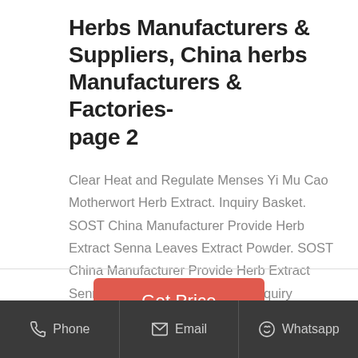Herbs Manufacturers & Suppliers, China herbs Manufacturers & Factories- page 2
Clear Heat and Regulate Menses Yi Mu Cao Motherwort Herb Extract. Inquiry Basket. SOST China Manufacturer Provide Herb Extract Senna Leaves Extract Powder. SOST China Manufacturer Provide Herb Extract Senna Leaves Extract Powder. Inquiry Basket.
Phone   Email   Whatsapp